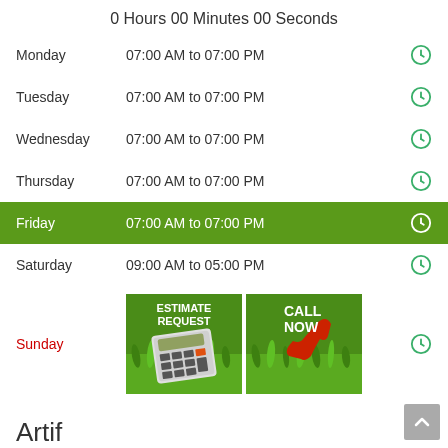0 Hours 00 Minutes 00 Seconds
Monday   07:00 AM to 07:00 PM
Tuesday   07:00 AM to 07:00 PM
Wednesday   07:00 AM to 07:00 PM
Thursday   07:00 AM to 07:00 PM
Friday   07:00 AM to 07:00 PM
Saturday   09:00 AM to 05:00 PM
Sunday
[Figure (infographic): Two buttons: ESTIMATE REQUEST with calculator icon on grass background, and CALL NOW with red phone icon on grass background]
Artif